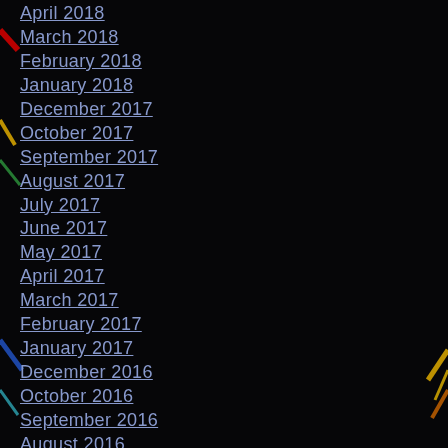April 2018
March 2018
February 2018
January 2018
December 2017
October 2017
September 2017
August 2017
July 2017
June 2017
May 2017
April 2017
March 2017
February 2017
January 2017
December 2016
October 2016
September 2016
August 2016
July 2016
June 2016